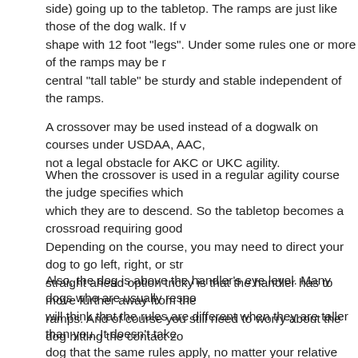side) going up to the tabletop. The ramps are just like those of the dog walk. If v shape with 12 foot "legs". Under some rules one or more of the ramps may be r central "tall table" be sturdy and stable independent of the ramps.
A crossover may be used instead of a dogwalk on courses under USDAA, AAC, not a legal obstacle for AKC or UKC agility.
When the crossover is used in a regular agility course the judge specifies which which they are to descend. So the tabletop becomes a crossroad requiring good Depending on the course, you may need to direct your dog to go left, right, or str straight ahead option tricky is that the handler has to move further away from the ramps. And of course you still need to worry about the dog hitting the contact zo
Also, the dog is above the handler's eye level. Many dogs who are usually respo will think that the rules are different when they are taller than you. It doesn't take dog that the same rules apply, no matter your relative eye-levels. However for do Obedience to directional commands at a height is something that can be practic dogs and handlers to be prepared even if they don't have a crossover to practice (Sally Sheridan)
If we used crossovers more, then the various issues regarding them would decre or-egg conundrum.
Many judges hesitate to use the crossover (when available, which is seldom) for